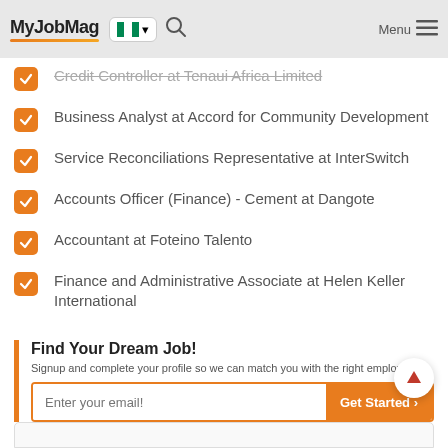MyJobMag
Credit Controller at Tenaui Africa Limited
Business Analyst at Accord for Community Development
Service Reconciliations Representative at InterSwitch
Accounts Officer (Finance) - Cement at Dangote
Accountant at Foteino Talento
Finance and Administrative Associate at Helen Keller International
Find Your Dream Job!
Signup and complete your profile so we can match you with the right employer